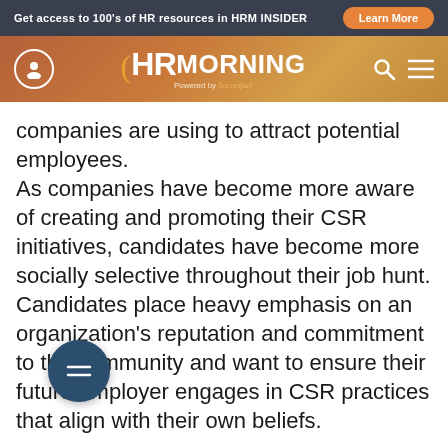Get access to 100's of HR resources in HRM INSIDER | Learn More
[Figure (logo): HR Morning logo with orange parenthesis accent, powered by Succesfuel, on a warm brown gradient navigation bar with user icon, search icon, and hamburger menu icon]
companies are using to attract potential employees.
As companies have become more aware of creating and promoting their CSR initiatives, candidates have become more socially selective throughout their job hunt. Candidates place heavy emphasis on an organization's reputation and commitment to the community and want to ensure their future employer engages in CSR practices that align with their own beliefs.
A must for younger